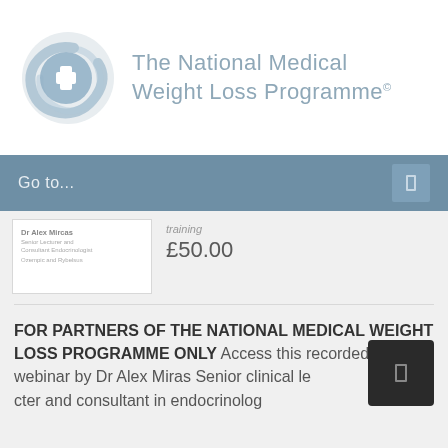[Figure (logo): The National Medical Weight Loss Programme logo with circular blue icon with cross symbol and grey swirl, next to text reading 'The National Medical Weight Loss Programme®']
Go to...
Dr Alex Miras
Senior Lecturer and Consultant Endocrinologist
Ozempic and Rybelsus
£50.00
FOR PARTNERS OF THE NATIONAL MEDICAL WEIGHT LOSS PROGRAMME ONLY Access this recorded training webinar by Dr Alex Miras Senior clinical lecturer and consultant in endocrinology